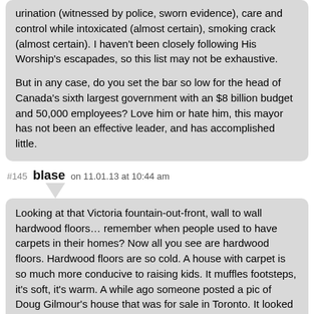urination (witnessed by police, sworn evidence), care and control while intoxicated (almost certain), smoking crack (almost certain). I haven't been closely following His Worship's escapades, so this list may not be exhaustive.

But in any case, do you set the bar so low for the head of Canada's sixth largest government with an $8 billion budget and 50,000 employees? Love him or hate him, this mayor has not been an effective leader, and has accomplished little.
#145 blase on 11.01.13 at 10:44 am
Looking at that Victoria fountain-out-front, wall to wall hardwood floors… remember when people used to have carpets in their homes? Now all you see are hardwood floors. Hardwood floors are so cold. A house with carpet is so much more conducive to raising kids. It muffles footsteps, it's soft, it's warm. A while ago someone posted a pic of Doug Gilmour's house that was for sale in Toronto. It looked like a lifeless tomb, all shiny marble and inset lighting, with zero comfort level. The topper was his basement, again wall to wall hardwood floors, and kids toys in the middle of this vast chasm of a basement. Great for floor hockey, but noisy as hell. I think they it's a preference not just a style for Canadian, To just